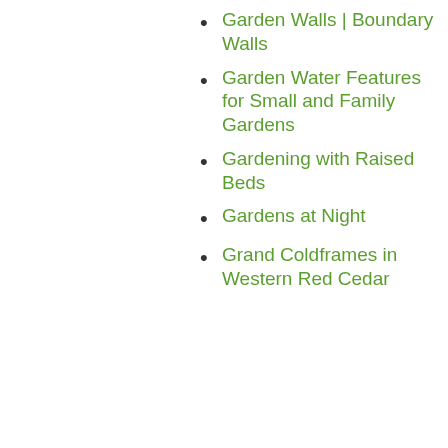Garden Walls | Boundary Walls
Garden Water Features for Small and Family Gardens
Gardening with Raised Beds
Gardens at Night
Grand Coldframes in Western Red Cedar
Grand Glasshouses
Granite Sphere Water Features
Granite Water Features Garden
Our site uses cookies, including for advertising personalisation. For more information, see our cookie policy.
Accept cookies and close
Reject cookies
Manage settings